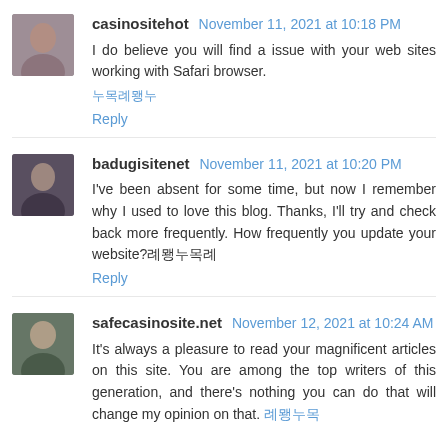casinositehot November 11, 2021 at 10:18 PM
I do believe you will find a issue with your web sites working with Safari browser.
한국어링크
Reply
badugisitenet November 11, 2021 at 10:20 PM
I've been absent for some time, but now I remember why I used to love this blog. Thanks, I'll try and check back more frequently. How frequently you update your website?한국어링크
Reply
safecasinosite.net November 12, 2021 at 10:24 AM
It's always a pleasure to read your magnificent articles on this site. You are among the top writers of this generation, and there's nothing you can do that will change my opinion on that. 한국어링크